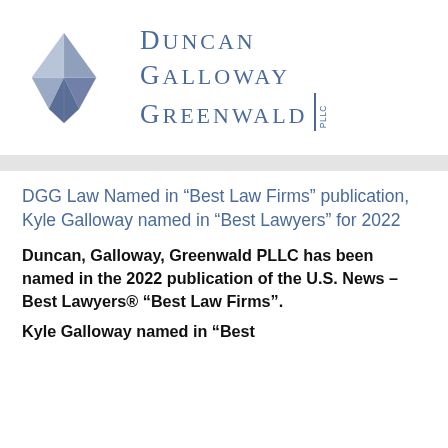[Figure (logo): Duncan Galloway Greenwald PLLC law firm logo with diamond geometric shape in blue/grey and firm name text]
DGG Law Named in “Best Law Firms” publication, Kyle Galloway named in “Best Lawyers” for 2022
Duncan, Galloway, Greenwald PLLC has been named in the 2022 publication of the U.S. News – Best Lawyers® “Best Law Firms”.
Kyle Galloway named in “Best